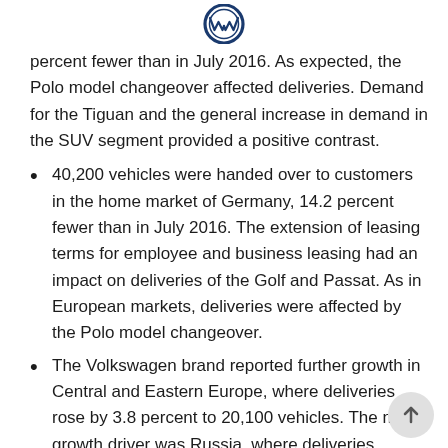[Figure (logo): Volkswagen VW circular logo at top center]
percent fewer than in July 2016. As expected, the Polo model changeover affected deliveries. Demand for the Tiguan and the general increase in demand in the SUV segment provided a positive contrast.
40,200 vehicles were handed over to customers in the home market of Germany, 14.2 percent fewer than in July 2016. The extension of leasing terms for employee and business leasing had an impact on deliveries of the Golf and Passat. As in European markets, deliveries were affected by the Polo model changeover.
The Volkswagen brand reported further growth in Central and Eastern Europe, where deliveries rose by 3.8 percent to 20,100 vehicles. The main growth driver was Russia, where deliveries increased by a substantial 24 percent. The new